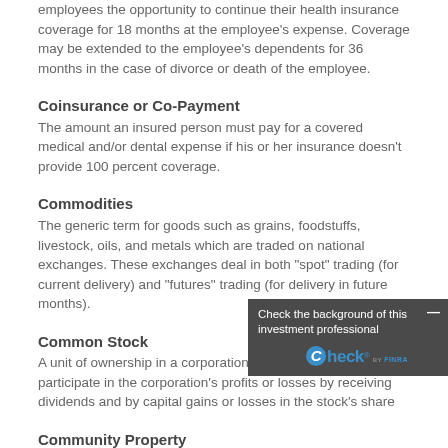employees the opportunity to continue their health insurance coverage for 18 months at the employee's expense. Coverage may be extended to the employee's dependents for 36 months in the case of divorce or death of the employee.
Coinsurance or Co-Payment
The amount an insured person must pay for a covered medical and/or dental expense if his or her insurance doesn't provide 100 percent coverage.
Commodities
The generic term for goods such as grains, foodstuffs, livestock, oils, and metals which are traded on national exchanges. These exchanges deal in both "spot" trading (for current delivery) and "futures" trading (for delivery in future months).
Common Stock
A unit of ownership in a corporation. Common stockholders participate in the corporation's profits or losses by receiving dividends and by capital gains or losses in the stock's share
Community Property
State laws vary, but generally all p during a marriage -- excluding property one spouse receives from a will, inheritance, or gift -- is